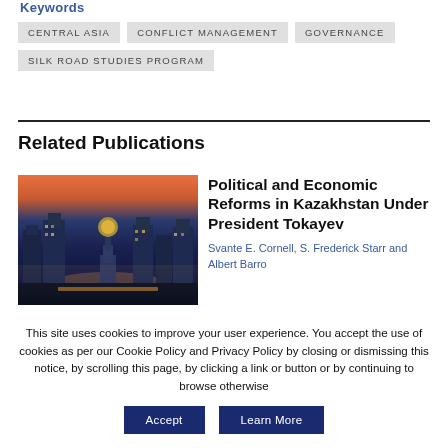Keywords
CENTRAL ASIA
CONFLICT MANAGEMENT
GOVERNANCE
SILK ROAD STUDIES PROGRAM
Related Publications
[Figure (photo): Aerial/cityscape photo of a modern Central Asian city at dusk/night with illuminated skyscrapers and a distinctive tower]
Political and Economic Reforms in Kazakhstan Under President Tokayev
Svante E. Cornell, S. Frederick Starr and Albert Barro
This site uses cookies to improve your user experience. You accept the use of cookies as per our Cookie Policy and Privacy Policy by closing or dismissing this notice, by scrolling this page, by clicking a link or button or by continuing to browse otherwise